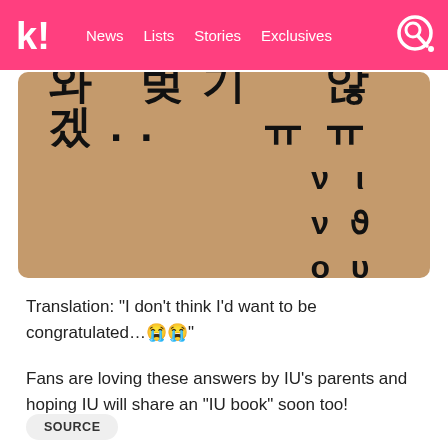k! News Lists Stories Exclusives
[Figure (photo): A photo showing handwritten Korean text on a brownish/tan background. The text appears to be handwritten in black marker.]
Translation: “I don’t think I’d want to be congratulated…😭😭”
Fans are loving these answers by IU’s parents and hoping IU will share an “IU book” soon too!
SOURCE